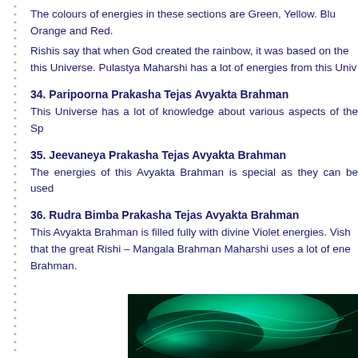The colours of energies in these sections are Green, Yellow. Blue, Orange and Red.
Rishis say that when God created the rainbow, it was based on the this Universe. Pulastya Maharshi has a lot of energies from this Univ...
34. Paripoorna Prakasha Tejas Avyakta Brahman
This Universe has a lot of knowledge about various aspects of the Sp...
35. Jeevaneya Prakasha Tejas Avyakta Brahman
The energies of this Avyakta Brahman is special as they can be used...
36. Rudra Bimba Prakasha Tejas Avyakta Brahman
This Avyakta Brahman is filled fully with divine Violet energies. Vish... that the great Rishi – Mangala Brahman Maharshi uses a lot of ene... Brahman.
[Figure (photo): Green swirling energy photograph with teal/cyan glowing light]